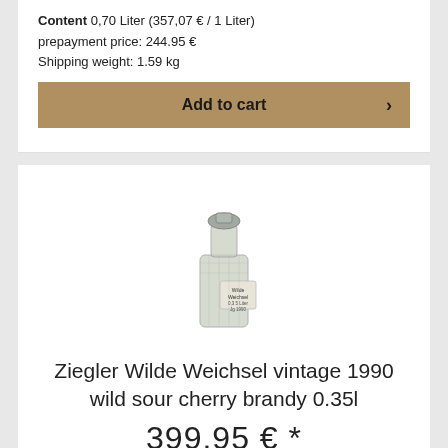Content 0,70 Liter (357,07 € / 1 Liter)
prepayment price: 244.95 €
Shipping weight: 1.59 kg
Add to cart
[Figure (photo): Small decorative glass bottle with silver stopper and a label reading Wilde Weichsel, containing clear brandy]
Ziegler Wilde Weichsel vintage 1990 wild sour cherry brandy 0.35l
399.95 € *
Content 0,35 Liter (1142,71 € / 1 Liter)
prepayment price: 391.95 €
Shipping weight: 1.83 kg